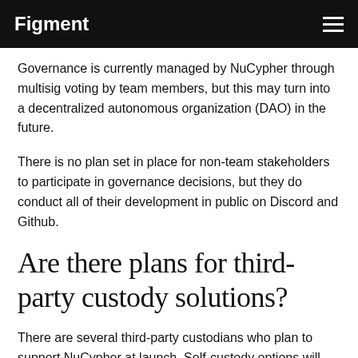Figment
Governance is currently managed by NuCypher through multisig voting by team members, but this may turn into a decentralized autonomous organization (DAO) in the future.
There is no plan set in place for non-team stakeholders to participate in governance decisions, but they do conduct all of their development in public on Discord and Github.
Are there plans for third-party custody solutions?
There are several third-party custodians who plan to support NuCypher at launch. Self-custody options will